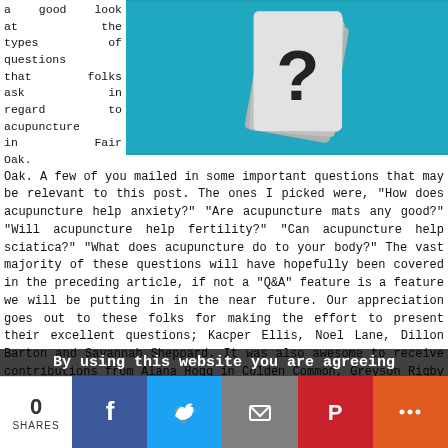a good look at the types of questions that folks ask in regard to acupuncture in Fair Oak. A few of you mailed in some important questions that may be relevant to this post. The ones I picked were, "How does acupuncture help anxiety?" "Are acupuncture mats any good?" "Will acupuncture help fertility?" "Can acupuncture help sciatica?" "What does acupuncture do to your body?" The vast majority of these questions will have hopefully been covered in the preceding article, if not a "Q&A" feature is a feature we will be putting in in the near future. Our appreciation goes out to these folks for making the effort to present their excellent questions; Kacper Ellis, Noel Lane, Dillon Barton and Savannah Sheppard. It was also awesome to receive contributions from Alana Hogg in Colden Common, Greyson Rigby in Fishers Pond and Aubree Harrington in Bishops Waltham.
[Figure (photo): Photo of stacked white cards with a question mark on teal/blue background]
By using this website you are agreeing
0
SHARES